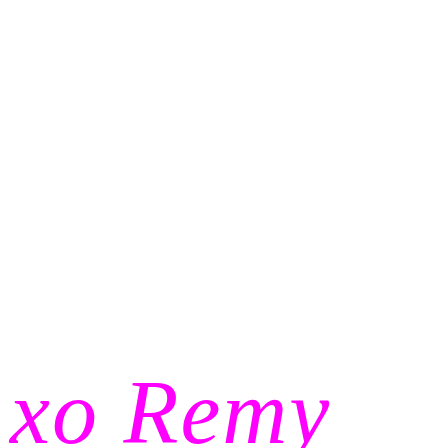[Figure (illustration): Partial view of a handwritten-style cursive signature or name in bright magenta/pink color, showing the end portion of text reading 'xo Remy' or similar, cropped at the bottom of the page]